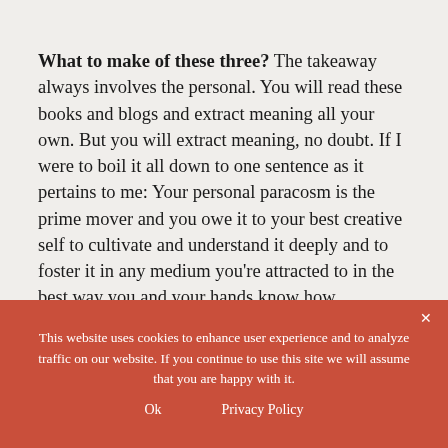What to make of these three? The takeaway always involves the personal. You will read these books and blogs and extract meaning all your own. But you will extract meaning, no doubt. If I were to boil it all down to one sentence as it pertains to me: Your personal paracosm is the prime mover and you owe it to your best creative self to cultivate and understand it deeply and to foster it in any medium you're attracted to in the best way you and your hands know how.
This website uses cookies to enhance user experience and to analyze traffic on our website. If you continue to use this site we will assume that you are happy with it.
Ok   Privacy Policy